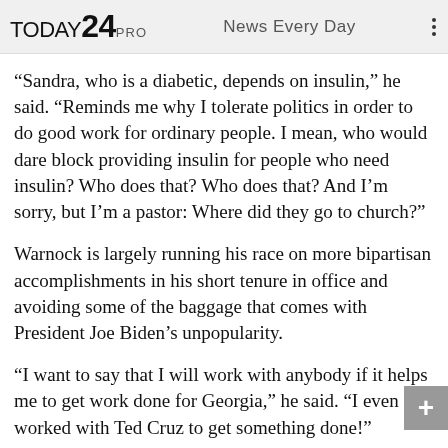TODAY24 PRO   News Every Day
“Sandra, who is a diabetic, depends on insulin,” he said. "Reminds me why I tolerate politics in order to do good work for ordinary people. I mean, who would dare block providing insulin for people who need insulin? Who does that? Who does that? And I’m sorry, but I’m a pastor: Where did they go to church?"
Warnock is largely running his race on more bipartisan accomplishments in his short tenure in office and avoiding some of the baggage that comes with President Joe Biden’s unpopularity.
“I want to say that I will work with anybody if it helps me to get work done for Georgia,” he said. "I even worked with Ted Cruz to get something done!"
The other major race this fall is the governor’s race between Stacey Abrams and Brian Kemp, a 2018 rematch that we have discussed in depth before on